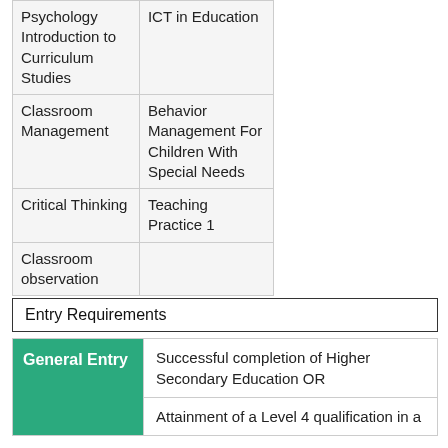| Column 1 | Column 2 |
| --- | --- |
| Psychology Introduction to Curriculum Studies | ICT in Education |
| Classroom Management | Behavior Management For Children With Special Needs |
| Critical Thinking | Teaching Practice 1 |
| Classroom observation |  |
Entry Requirements
| Category | Details |
| --- | --- |
| General Entry | Successful completion of Higher Secondary Education OR |
|  | Attainment of a Level 4 qualification in a |